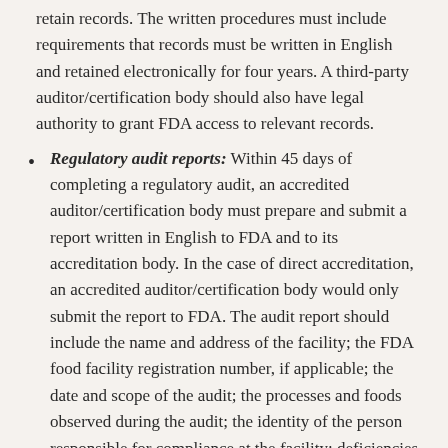retain records.  The written procedures must include requirements that records must be written in English and retained electronically for four years.  A third-party auditor/certification body should also have legal authority to grant FDA access to relevant records.
Regulatory audit reports:  Within 45 days of completing a regulatory audit, an accredited auditor/certification body must prepare and submit a report written in English to FDA and to its accreditation body.  In the case of direct accreditation, an accredited auditor/certification body would only submit the report to FDA.  The audit report should include the name and address of the facility; the FDA food facility registration number, if applicable; the date and scope of the audit; the processes and foods observed during the audit; the identity of the person responsible for compliance at the facility; deficiencies observed, and the reasonable probability that the deficiency poses a serious adverse consequence to public health; corrective action for any deficiency; whether sampling or analysis was used at the facility; whether a food-safety recall has been issued in the last 2